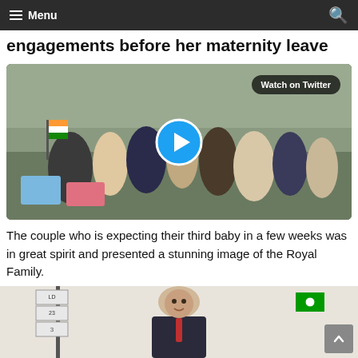Menu
engagements before her maternity leave
[Figure (screenshot): Embedded video player showing royal couple meeting school children outside a building, with a 'Watch on Twitter' badge and a blue play button overlay.]
The couple who is expecting their third baby in a few weeks was in great spirit and presented a stunning image of the Royal Family.
[Figure (photo): Partial photo strip at bottom showing a man in a suit smiling, a street sign on the left, and flags on the right.]